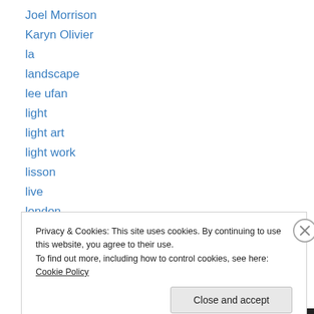Joel Morrison
Karyn Olivier
la
landscape
lee ufan
light
light art
light work
lisson
live
london
los angeles
loss
Privacy & Cookies: This site uses cookies. By continuing to use this website, you agree to their use.
To find out more, including how to control cookies, see here: Cookie Policy
Close and accept